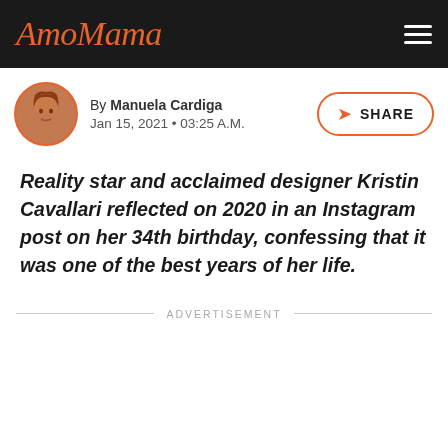AmoMama
By Manuela Cardiga
Jan 15, 2021 • 03:25 A.M.
Reality star and acclaimed designer Kristin Cavallari reflected on 2020 in an Instagram post on her 34th birthday, confessing that it was one of the best years of her life.
ADVERTISEMENT